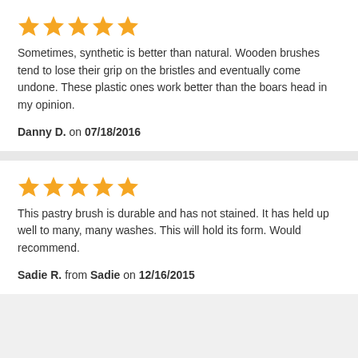[Figure (other): 5 gold stars rating]
Sometimes, synthetic is better than natural. Wooden brushes tend to lose their grip on the bristles and eventually come undone. These plastic ones work better than the boars head in my opinion.
Danny D. on 07/18/2016
[Figure (other): 5 gold stars rating]
This pastry brush is durable and has not stained. It has held up well to many, many washes. This will hold its form. Would recommend.
Sadie R. from Sadie on 12/16/2015